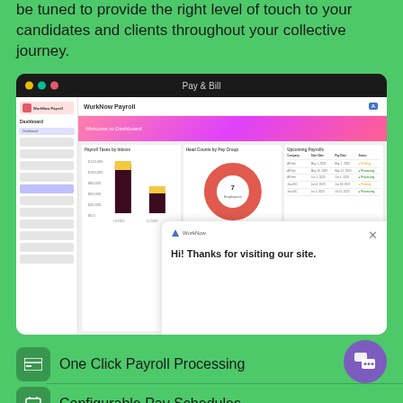be tuned to provide the right level of touch to your candidates and clients throughout your collective journey.
[Figure (screenshot): Screenshot of WurkNow Payroll dashboard interface showing Pay & Bill title bar, payroll taxes bar chart, head counts by pay group donut chart, and upcoming payrolls list. A WurkNow chat popup overlay reads 'Hi! Thanks for visiting our site.']
One Click Payroll Processing
Configurable Pay Schedules